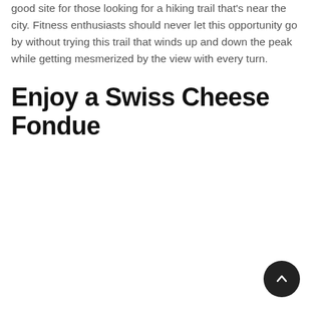good site for those looking for a hiking trail that's near the city. Fitness enthusiasts should never let this opportunity go by without trying this trail that winds up and down the peak while getting mesmerized by the view with every turn.
Enjoy a Swiss Cheese Fondue
[Figure (other): Dark circular scroll-to-top button with an upward-pointing chevron arrow, positioned in the bottom-right corner of the page.]